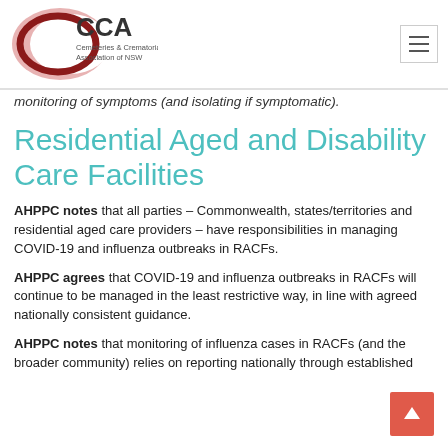CCA — Cemeteries & Crematoria Association of NSW
monitoring of symptoms (and isolating if symptomatic).
Residential Aged and Disability Care Facilities
AHPPC notes that all parties – Commonwealth, states/territories and residential aged care providers – have responsibilities in managing COVID-19 and influenza outbreaks in RACFs.
AHPPC agrees that COVID-19 and influenza outbreaks in RACFs will continue to be managed in the least restrictive way, in line with agreed nationally consistent guidance.
AHPPC notes that monitoring of influenza cases in RACFs (and the broader community) relies on reporting nationally through established mechanisms.